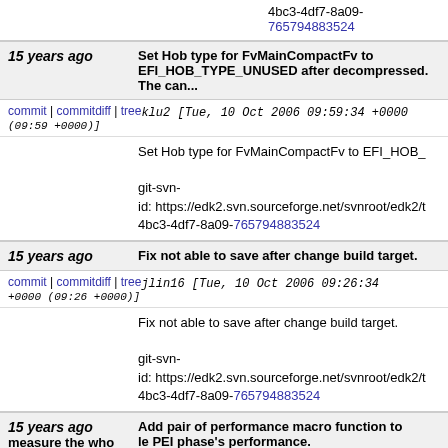4bc3-4df7-8a09-765794883524
15 years ago   Set Hob type for FvMainCompactFv to EFI_HOB_TYPE_UNUSED after decompressed. The can...
commit | commitdiff | tree   klu2 [Tue, 10 Oct 2006 09:59:34 +0000 (09:59 +0000)]
Set Hob type for FvMainCompactFv to EFI_HOB_
git-svn-id: https://edk2.svn.sourceforge.net/svnroot/edk2/t
4bc3-4df7-8a09-765794883524
15 years ago   Fix not able to save after change build target.
commit | commitdiff | tree   jlin16 [Tue, 10 Oct 2006 09:26:34 +0000 (09:26 +0000)]
Fix not able to save after change build target.
git-svn-id: https://edk2.svn.sourceforge.net/svnroot/edk2/t
4bc3-4df7-8a09-765794883524
15 years ago   Add pair of performance macro function to measure the whole PEI phase's performance.